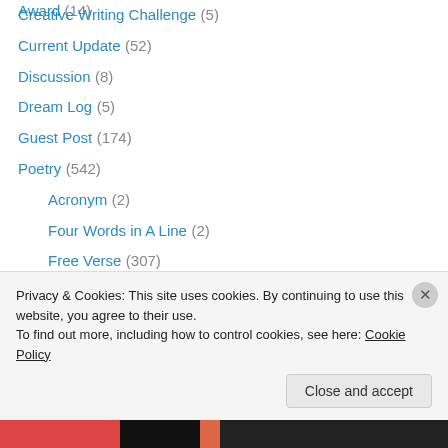Award (14)
Creative Writing Challenge (5)
Current Update (52)
Discussion (8)
Dream Log (5)
Guest Post (174)
Poetry (542)
Acronym (2)
Four Words in A Line (2)
Free Verse (307)
Haibun (2)
Haiku (25)
Metaphor (27)
Picture (4)
Privacy & Cookies: This site uses cookies. By continuing to use this website, you agree to their use. To find out more, including how to control cookies, see here: Cookie Policy